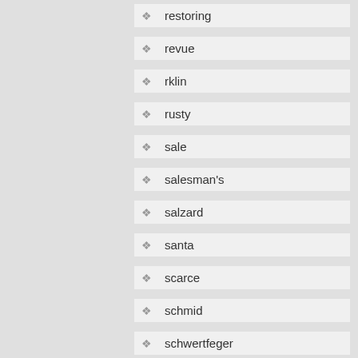restoring
revue
rklin
rusty
sale
salesman's
salzard
santa
scarce
schmid
schwertfeger
sealed
shop
siemens
signed